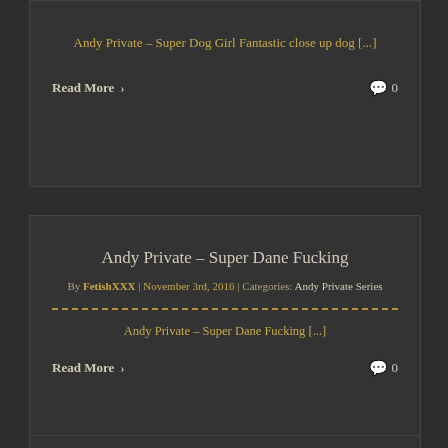Andy Private – Super Dog Girl Fantastic close up dog [...]
Read More  0
Andy Private – Super Dane Fucking
By FetishXXX | November 3rd, 2016 | Categories: Andy Private Series
Andy Private – Super Dane Fucking [...]
Read More  0